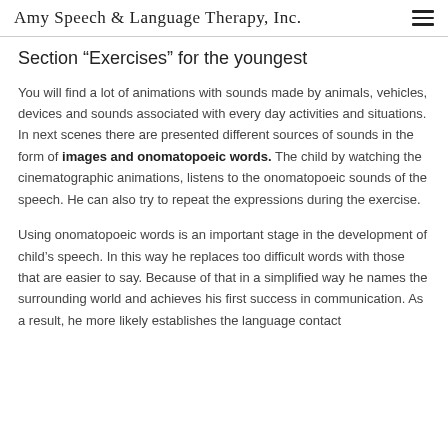Amy Speech & Language Therapy, Inc.
Section “Exercises” for the youngest
You will find a lot of animations with sounds made by animals, vehicles, devices and sounds associated with every day activities and situations. In next scenes there are presented different sources of sounds in the form of images and onomatopoeic words. The child by watching the cinematographic animations, listens to the onomatopoeic sounds of the speech. He can also try to repeat the expressions during the exercise.
Using onomatopoeic words is an important stage in the development of child's speech. In this way he replaces too difficult words with those that are easier to say. Because of that in a simplified way he names the surrounding world and achieves his first success in communication. As a result, he more likely establishes the language contact